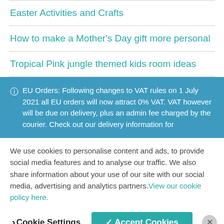Easter Activities and Crafts
How to make a Mother's Day gift more personal
Tropical Pink jungle themed kids room ideas
ℹ EU Orders: Following changes to VAT rules on 1 July 2021 all EU orders will now attract 0% VAT. VAT however will be due on delivery, plus an admin fee charged by the courier. Check out our delivery information for
We use cookies to personalise content and ads, to provide social media features and to analyse our traffic. We also share information about your use of our site with our social media, advertising and analytics partners. View our cookie policy here.
Cookie Settings  ✓ Accept Cookies  ✕